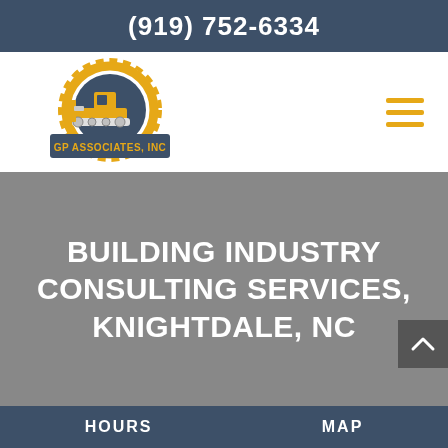(919) 752-6334
[Figure (logo): GP Associates Inc logo with gear and bulldozer icon in dark blue and yellow/gold colors]
BUILDING INDUSTRY CONSULTING SERVICES, KNIGHTDALE, NC
HOURS    MAP